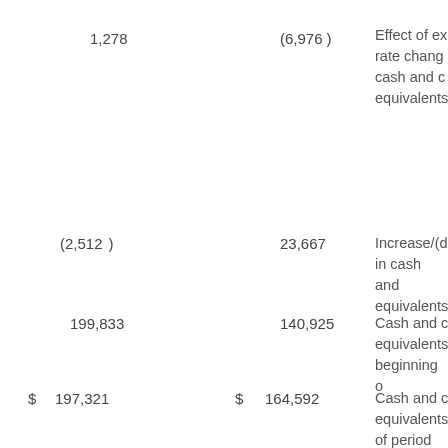| Col1 | Col2 | Description |
| --- | --- | --- |
| 1,278 | (6,976) | Effect of exchange rate changes on cash and cash equivalents |
| (2,512) | 23,667 | Increase/(decrease) in cash and cash equivalents |
| 199,833 | 140,925 | Cash and cash equivalents, beginning of period |
| $ 197,321 | $ 164,592 | Cash and cash equivalents, end of period |